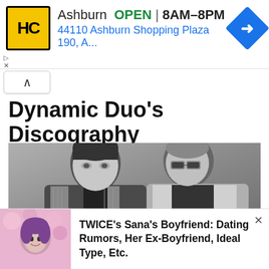[Figure (other): Advertisement banner: HC logo (yellow square with HC text), 'Ashburn OPEN 8AM-8PM', '44110 Ashburn Shopping Plaza 190, A...' with blue navigation arrow icon]
Dynamic Duo's Discography
[Figure (photo): Black and white photo of two men: one with dark hair wearing a pinstripe blazer, one with shaved head wearing sunglasses and white jacket]
[Figure (other): Bottom advertisement with woman in pink floral background: 'TWICE's Sana's Boyfriend: Dating Rumors, Her Ex-Boyfriend, Ideal Type, Etc.']